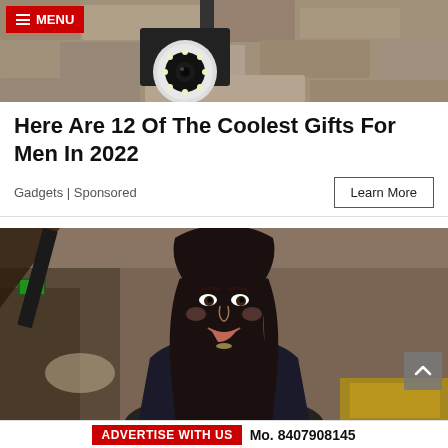[Figure (photo): Security camera mounted on a textured stone/concrete wall, chrome and black body, with LED ring]
MENU
Here Are 12 Of The Coolest Gifts For Men In 2022
Gadgets | Sponsored
[Figure (photo): Professional portrait of a dark-haired woman smiling, wearing a dark blazer, seated in an office/lobby setting]
ADVERTISE WITH US  Mo. 8407908145